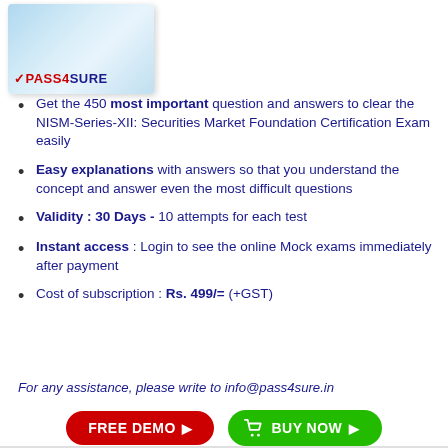[Figure (logo): Pass4Sure product box logo with blue gradient and red/blue PASS4SURE text]
Get the 450 most important question and answers to clear the NISM-Series-XII: Securities Market Foundation Certification Exam easily
Easy explanations with answers so that you understand the concept and answer even the most difficult questions
Validity : 30 Days - 10 attempts for each test
Instant access : Login to see the online Mock exams immediately after payment
Cost of subscription : Rs. 499/= (+GST)
For any assistance, please write to info@pass4sure.in
[Figure (other): FREE DEMO button (red rounded) and BUY NOW button (green rounded) with cart icon]